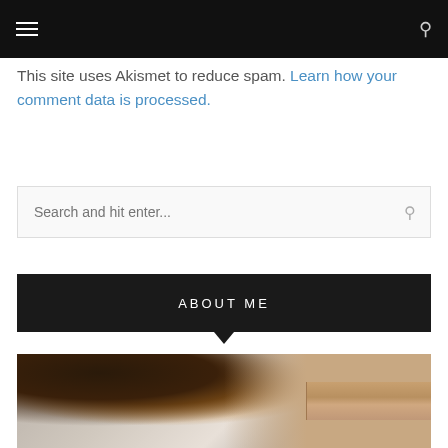≡   🔍
This site uses Akismet to reduce spam. Learn how your comment data is processed.
Search and hit enter...
ABOUT ME
[Figure (photo): A selfie photo of a woman with dark hair lying next to a dog (appears to be a Jack Russell or similar breed with black, white, and tan markings). The dog is in the upper-left area and the woman's face is partially visible on the right side of the image.]